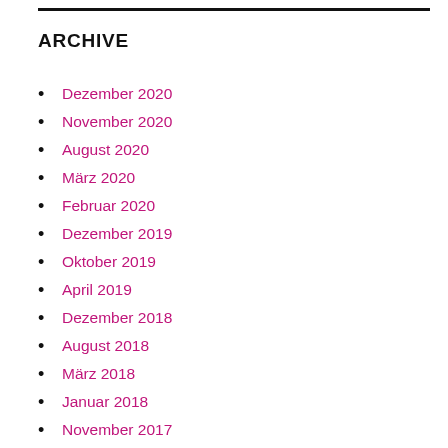ARCHIVE
Dezember 2020
November 2020
August 2020
März 2020
Februar 2020
Dezember 2019
Oktober 2019
April 2019
Dezember 2018
August 2018
März 2018
Januar 2018
November 2017